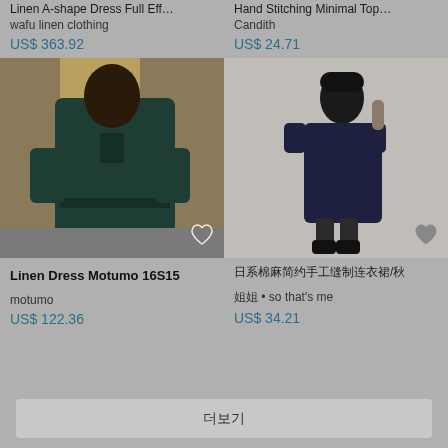Linen A-shape Dress Full Eff…
wafu linen clothing
US$ 363.92
Hand Stitching Minimal Top…
Candith
US$ 24.71
[Figure (photo): Woman wearing a dark teal linen shirt dress with belted waist, standing against a stone wall]
[Figure (photo): Woman wearing a navy blue minimal short-sleeve dress, standing against a white background]
Linen Dress Motumo 16S15
日系棉麻简约手工缝制连衣裙/秋
motumo
姐姐 • so that's me
US$ 122.36
US$ 34.21
더보기